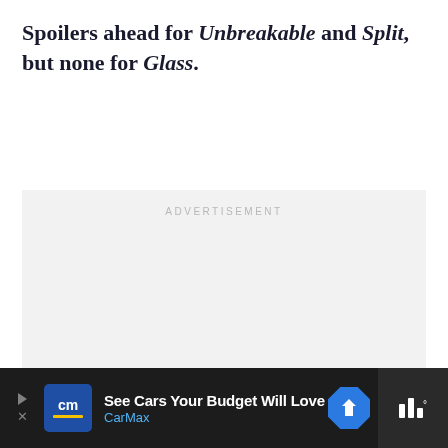**Spoilers ahead for Unbreakable and Split, but none for Glass.**
[Figure (other): Advertisement placeholder box with 'ADVERTISEMENT' label in light gray text centered near top, and three gray dots centered near bottom, on a light gray background.]
[Figure (other): Bottom ad banner showing CarMax advertisement: arrow button, CarMax blue logo with 'cm' and yellow bar, text 'See Cars Your Budget Will Love' and 'CarMax' in blue, a blue diamond navigation icon, and a dark right panel with bar chart weather widget icon.]